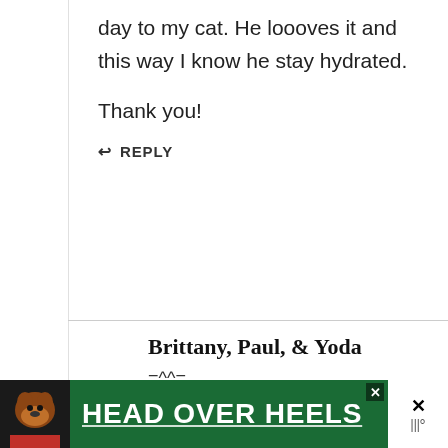day to my cat. He loooves it and this way I know he stay hydrated.

Thank you!
↩ REPLY
Brittany, Paul, & Yoda
=^^=
Posted on July 17, 2018 at 5:47 pm
[Figure (screenshot): Advertisement banner with dog photo and text HEAD OVER HEELS on green background]